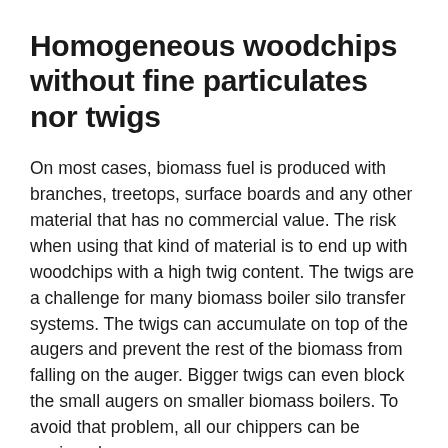Homogeneous woodchips without fine particulates nor twigs
On most cases, biomass fuel is produced with branches, treetops, surface boards and any other material that has no commercial value. The risk when using that kind of material is to end up with woodchips with a high twig content. The twigs are a challenge for many biomass boiler silo transfer systems. The twigs can accumulate on top of the augers and prevent the rest of the biomass from falling on the auger. Bigger twigs can even block the small augers on smaller biomass boilers. To avoid that problem, all our chippers can be equipped